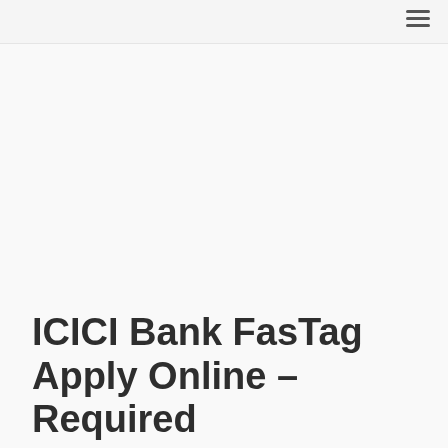ICICI Bank FasTag Apply Online – Required